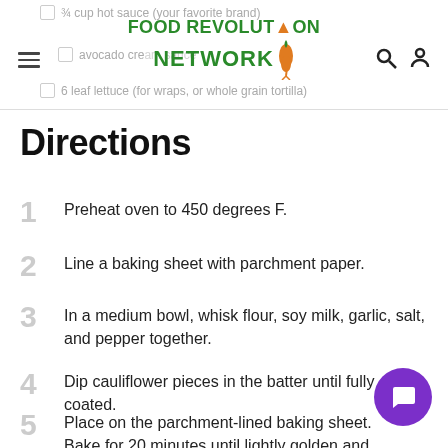Food Revolution Network header with navigation
¾ cup hot sauce (your favorite brand)
avocado cream sauce
6 leaf lettuce (for wraps, or whole grain tortilla)
Directions
1 Preheat oven to 450 degrees F.
2 Line a baking sheet with parchment paper.
3 In a medium bowl, whisk flour, soy milk, garlic, salt, and pepper together.
4 Dip cauliflower pieces in the batter until fully coated.
5 Place on the parchment-lined baking sheet. Bake for 20 minutes until lightly golden and crispy.